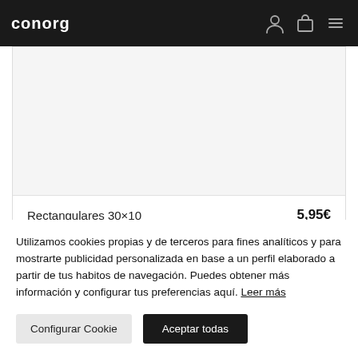conorg
[Figure (photo): Product image area showing a white/light gray rectangular product photo placeholder]
Rectangulares 30×10   5,95€
Ver más
Utilizamos cookies propias y de terceros para fines analíticos y para mostrarte publicidad personalizada en base a un perfil elaborado a partir de tus habitos de navegación. Puedes obtener más información y configurar tus preferencias aquí. Leer más
Configurar Cookie   Aceptar todas